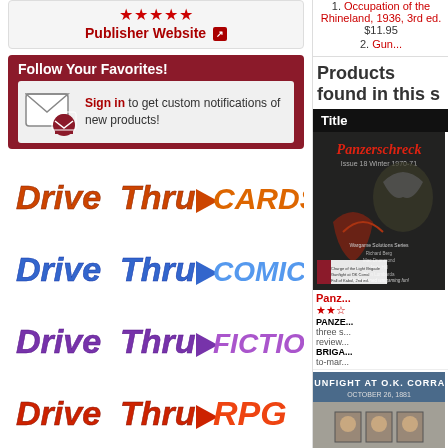Publisher Website
Follow Your Favorites!
Sign in to get custom notifications of new products!
[Figure (logo): DriveThruCards logo]
[Figure (logo): DriveThruComics logo]
[Figure (logo): DriveThruFiction logo]
[Figure (logo): DriveThruRPG logo]
1. Occupation of the Rhineland, 1936, 3rd ed. $11.95
2. Gun...
Products found in this s
| Title |
| --- |
| Panz... (Panzerschreck) ★★☆ PANZE... three s... review... BRIGA... to-mar... |
| Gunf... (Gunfight at OK Corral) ★★☆ GUNF... West, gang i... |